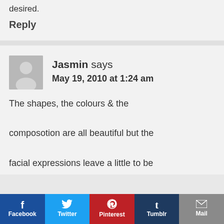desired.
Reply
Jasmin says
May 19, 2010 at 1:24 am
The shapes, the colours & the composotion are all beautiful but the facial expressions leave a little to be
[Figure (infographic): Social share bar with Facebook, Twitter, Pinterest, Tumblr, and Mail buttons]
Facebook  Twitter  Pinterest  Tumblr  Mail